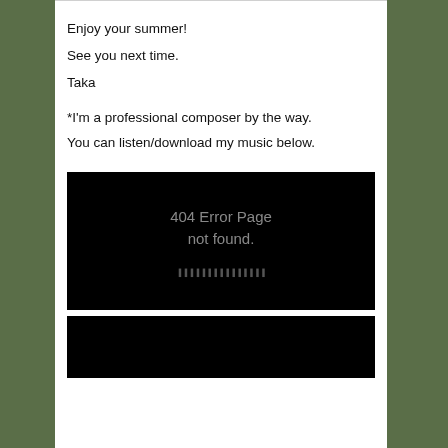Enjoy your summer!
See you next time.
Taka
*I'm a professional composer by the way. You can listen/download my music below.
[Figure (screenshot): Embedded video/audio player showing a 404 Error Page not found message on a black background with a progress bar at the bottom]
[Figure (screenshot): Second embedded player or media widget with black background, partially visible]